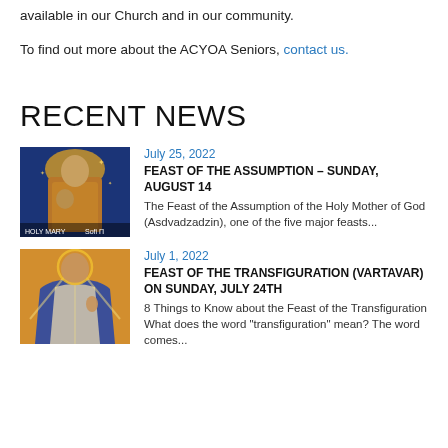available in our Church and in our community.
To find out more about the ACYOA Seniors, contact us.
RECENT NEWS
[Figure (photo): Religious icon painting of Holy Mary with Christ child, gold and blue colors, labeled 'HOLY MARY' and 'Sofi П']
July 25, 2022
FEAST OF THE ASSUMPTION – SUNDAY, AUGUST 14
The Feast of the Assumption of the Holy Mother of God (Asdvadzadzin), one of the five major feasts...
[Figure (photo): Religious icon painting of Jesus at the Transfiguration, gold and blue robes, radiating light]
July 1, 2022
FEAST OF THE TRANSFIGURATION (VARTAVAR) ON SUNDAY, JULY 24TH
8 Things to Know about the Feast of the Transfiguration What does the word "transfiguration" mean? The word comes...